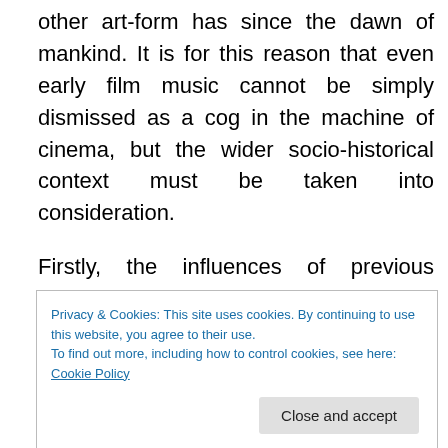other art-form has since the dawn of mankind. It is for this reason that even early film music cannot be simply dismissed as a cog in the machine of cinema, but the wider socio-historical context must be taken into consideration.
Firstly, the influences of previous associations between drama and music must be taken into account. These span back as far as ancient Grecian drama, but most notable in recent times is the influence of Wagner and his gesamtkunstwerk. This shaped the setting for early
Privacy & Cookies: This site uses cookies. By continuing to use this website, you agree to their use.
To find out more, including how to control cookies, see here: Cookie Policy
several births across the globe at more or less the same